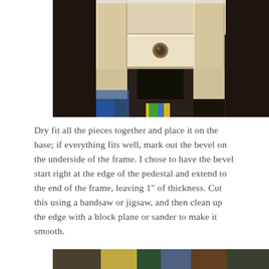[Figure (photo): Close-up photo of a wooden furniture frame assembly showing pale wood pieces forming a cross/plus structure with a central drawer-like piece containing a brass bolt or knob, viewed from above on a dark background. Blue fabric visible in lower left corner and colorful object in lower center.]
Dry fit all the pieces together and place it on the base; if everything fits well, mark out the bevel on the underside of the frame. I chose to have the bevel start right at the edge of the pedestal and extend to the end of the frame, leaving 1" of thickness. Cut this using a bandsaw or jigsaw, and then clean up the edge with a block plane or sander to make it smooth.
[Figure (photo): Partial view of a workbench or tools area, cropped at the bottom of the page.]